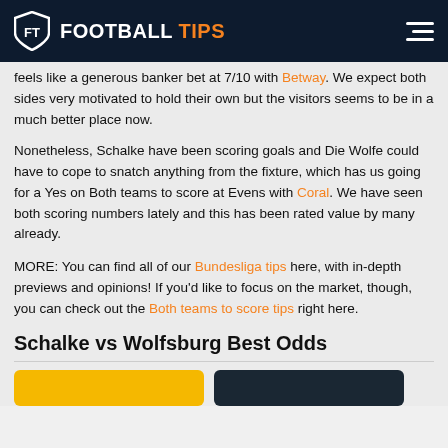FT FOOTBALL TIPS
feels like a generous banker bet at 7/10 with Betway. We expect both sides very motivated to hold their own but the visitors seems to be in a much better place now.
Nonetheless, Schalke have been scoring goals and Die Wolfe could have to cope to snatch anything from the fixture, which has us going for a Yes on Both teams to score at Evens with Coral. We have seen both scoring numbers lately and this has been rated value by many already.
MORE: You can find all of our Bundesliga tips here, with in-depth previews and opinions! If you’d like to focus on the market, though, you can check out the Both teams to score tips right here.
Schalke vs Wolfsburg Best Odds